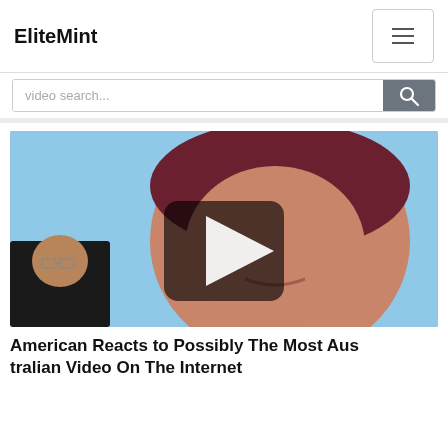EliteMint
video search...
[Figure (screenshot): Video thumbnail showing a man wearing a dark red bandana outdoors with a bright sky background, and a smaller inset image of a man with glasses in dark clothing. A play button is overlaid in the center.]
American Reacts to Possibly The Most Australian Video On The Internet